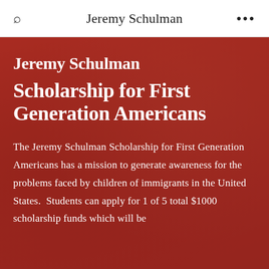Jeremy Schulman
Jeremy Schulman Scholarship for First Generation Americans
The Jeremy Schulman Scholarship for First Generation Americans has a mission to generate awareness for the problems faced by children of immigrants in the United States.  Students can apply for 1 of 5 total $1000 scholarship funds which will be